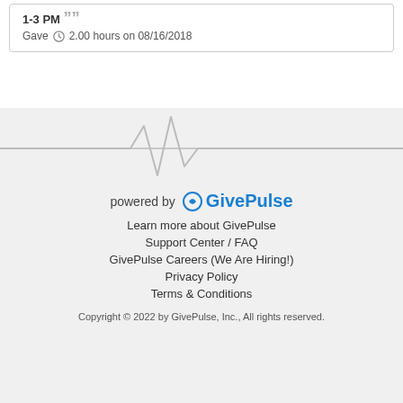1-3 PM ””
Gave ⏰ 2.00 hours on 08/16/2018
[Figure (illustration): GivePulse heartbeat/pulse line graphic forming a stylized EKG waveform]
powered by GivePulse
Learn more about GivePulse
Support Center / FAQ
GivePulse Careers (We Are Hiring!)
Privacy Policy
Terms & Conditions
Copyright © 2022 by GivePulse, Inc., All rights reserved.